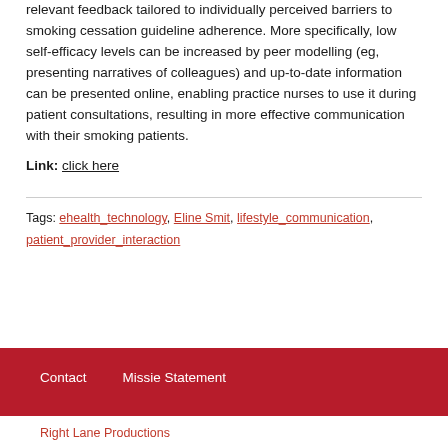relevant feedback tailored to individually perceived barriers to smoking cessation guideline adherence. More specifically, low self-efficacy levels can be increased by peer modelling (eg, presenting narratives of colleagues) and up-to-date information can be presented online, enabling practice nurses to use it during patient consultations, resulting in more effective communication with their smoking patients.
Link: click here
Tags: ehealth_technology, Eline Smit, lifestyle_communication, patient_provider_interaction
Contact   Missie Statement
Right Lane Productions